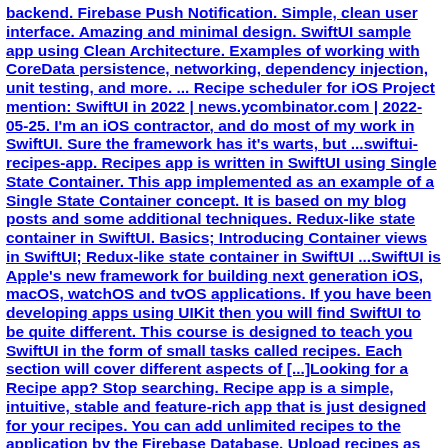backend. Firebase Push Notification. Simple, clean user interface. Amazing and minimal design. SwiftUI sample app using Clean Architecture. Examples of working with CoreData persistence, networking, dependency injection, unit testing, and more. ... Recipe scheduler for iOS Project mention: SwiftUI in 2022 | news.ycombinator.com | 2022-05-25. I'm an iOS contractor, and do most of my work in SwiftUI. Sure the framework has it's warts, but ...swiftui-recipes-app. Recipes app is written in SwiftUI using Single State Container. This app implemented as an example of a Single State Container concept. It is based on my blog posts and some additional techniques. Redux-like state container in SwiftUI. Basics; Introducing Container views in SwiftUI; Redux-like state container in SwiftUI ...SwiftUI is Apple's new framework for building next generation iOS, macOS, watchOS and tvOS applications. If you have been developing apps using UIKit then you will find SwiftUI to be quite different. This course is designed to teach you SwiftUI in the form of small tasks called recipes. Each section will cover different aspects of [...]Looking for a Recipe app? Stop searching. Recipe app is a simple, intuitive, stable and feature-rich app that is just designed for your recipes. You can add unlimited recipes to the application by the Firebase Database. Upload recipes as much as you want. APP FEATURES: Light and Dark mode support Native and Clean code (easy to customize)Adding SwiftUI to an existing app; Exploring more views and controls (iOS 14+)